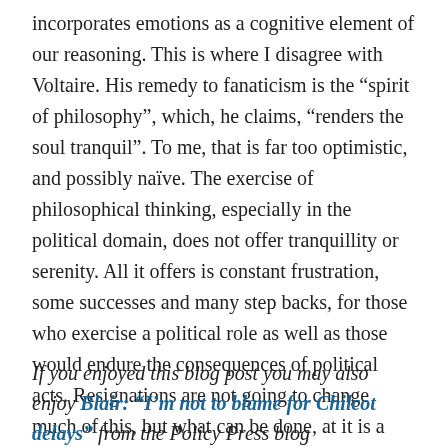incorporates emotions as a cognitive element of our reasoning. This is where I disagree with Voltaire. His remedy to fanaticism is the “spirit of philosophy”, which, he claims, “renders the soul tranquil”. To me, that is far too optimistic, and possibly naïve. The exercise of philosophical thinking, especially in the political domain, does not offer tranquillity or serenity. All it offers is constant frustration, some successes and many step backs, for those who exercise a political role as well as those would endure the consequences of political acts. Resignations are not going to change much of this, but what can be done, at it is a good deal already, is work on avoiding the perversion of principles.
If you enjoyed this blog post you may also enjoy Blair: “I’m not to blame for Chilcot delays” from the Policy Press blog